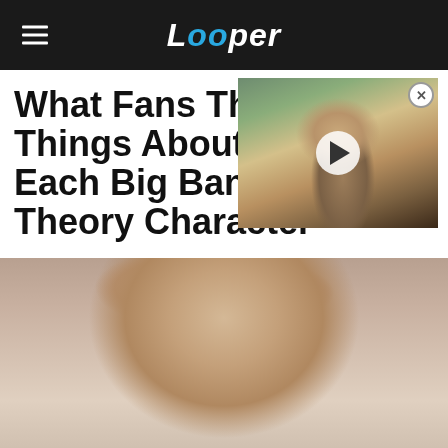Looper
[Figure (photo): Video thumbnail overlay showing a person with long blond hair with a play button, positioned top-right]
What Fans Think Things About Each Big Bang Theory Character
[Figure (photo): Close-up photo of a man's face, from forehead to chin, centered in the lower portion of the page]